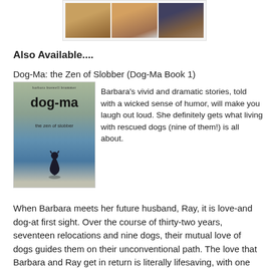[Figure (photo): Strip of three dog photos in a bordered frame]
Also Available....
Dog-Ma: the Zen of Slobber (Dog-Ma Book 1)
[Figure (photo): Book cover of dog-ma: the zen of slobber by barbara buswell brummer, showing a dog silhouette on a beach]
Barbara's vivid and dramatic stories, told with a wicked sense of humor, will make you laugh out loud. She definitely gets what living with rescued dogs (nine of them!) is all about.
When Barbara meets her future husband, Ray, it is love-and dog-at first sight. Over the course of thirty-two years, seventeen relocations and nine dogs, their mutual love of dogs guides them on their unconventional path. The love that Barbara and Ray get in return is literally lifesaving, with one dog attacking a lethal